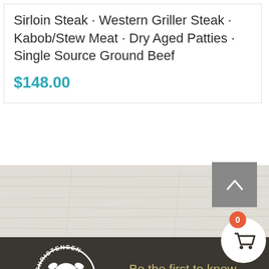Sirloin Steak · Western Griller Steak · Kabob/Stew Meat · Dry Aged Patties · Single Source Ground Beef
$148.00
[Figure (logo): Christensen Ranch logo — white circular design with a cow illustration, text reading CHRISTENSEN Ranch in western style font]
Be the first to know when new products are launched and beef